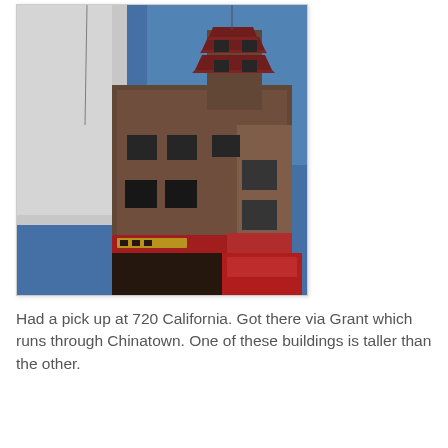[Figure (photo): Photograph of a building in Chinatown, San Francisco. The building has traditional Chinese pagoda-style architectural elements on top with a flagpole, brown brick facade with multiple windows, a red awning at street level with Chinese signage, and a red bus or vehicle visible at the bottom right. The sky is blue. A white building is partially visible on the left side.]
Had a pick up at 720 California. Got there via Grant which runs through Chinatown. One of these buildings is taller than the other.